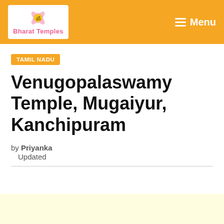Bharat Temples — Menu
TAMIL NADU
Venugopalaswamy Temple, Mugaiyur, Kanchipuram
by Priyanka
Updated
[Figure (other): Light yellow advertisement/content area at the bottom of the page]